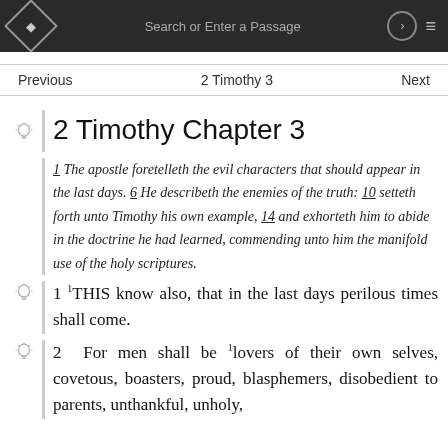Search or Enter a Passage
2 Timothy Chapter 3
1 The apostle foretelleth the evil characters that should appear in the last days. 6 He describeth the enemies of the truth: 10 setteth forth unto Timothy his own example, 14 and exhorteth him to abide in the doctrine he had learned, commending unto him the manifold use of the holy scriptures.
1 THIS know also, that in the last days perilous times shall come.
2 For men shall be lovers of their own selves, covetous, boasters, proud, blasphemers, disobedient to parents, unthankful, unholy,